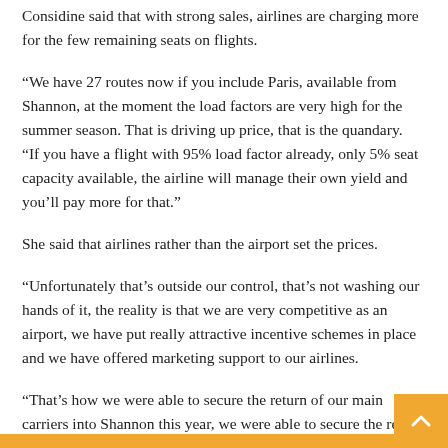Considine said that with strong sales, airlines are charging more for the few remaining seats on flights.
“We have 27 routes now if you include Paris, available from Shannon, at the moment the load factors are very high for the summer season. That is driving up price, that is the quandary.
“If you have a flight with 95% load factor already, only 5% seat capacity available, the airline will manage their own yield and you’ll pay more for that.”
She said that airlines rather than the airport set the prices.
“Unfortunately that’s outside our control, that’s not washing our hands of it, the reality is that we are very competitive as an airport, we have put really attractive incentive schemes in place and we have offered marketing support to our airlines.
“That’s how we were able to secure the return of our main carriers into Shannon this year, we were able to secure the return of those services very early on ahead of other airports because we had actually done the deals with the airlines.